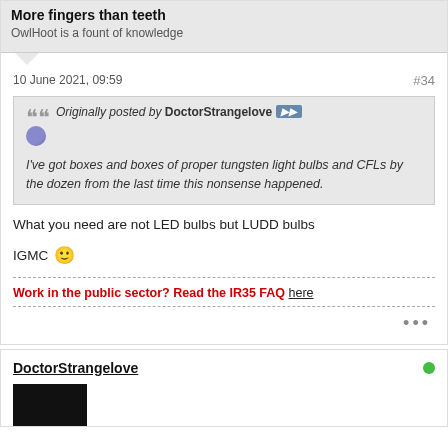More fingers than teeth
OwlHoot is a fount of knowledge
10 June 2021, 09:59
#34
Originally posted by DoctorStrangelove [view] [emoji] I've got boxes and boxes of proper tungsten light bulbs and CFLs by the dozen from the last time this nonsense happened.
What you need are not LED bulbs but LUDD bulbs
IGMC [emoji]
Work in the public sector? Read the IR35 FAQ here
...
DoctorStrangelove